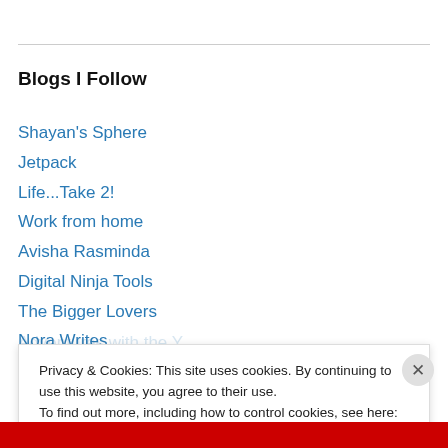Blogs I Follow
Shayan's Sphere
Jetpack
Life...Take 2!
Work from home
Avisha Rasminda
Digital Ninja Tools
The Bigger Lovers
Nora Writes
Privacy & Cookies: This site uses cookies. By continuing to use this website, you agree to their use. To find out more, including how to control cookies, see here: Cookie Policy
Close and accept